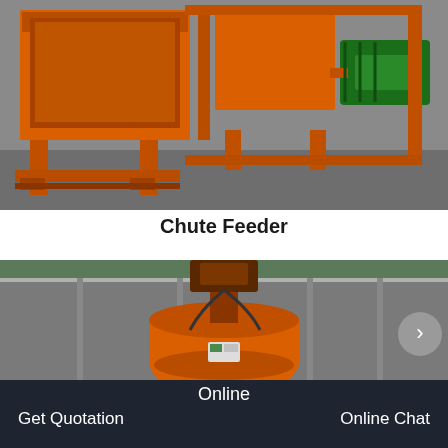[Figure (photo): Orange industrial chute feeder machine with hopper and motor, photographed in a factory/yard setting on a grey concrete floor.]
Chute Feeder
[Figure (photo): Orange industrial vertical mixer/agitator machine inside a factory building with green industrial roof structure visible.]
Online | Get Quotation | Online Chat